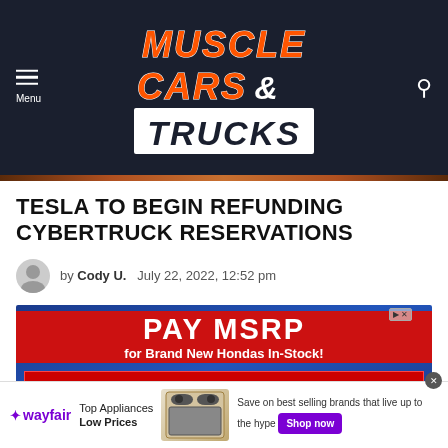Muscle Cars & Trucks - Website header with logo, menu button, and search icon
TESLA TO BEGIN REFUNDING CYBERTRUCK RESERVATIONS
by Cody U.  July 22, 2022, 12:52 pm
[Figure (screenshot): Advertisement banner: PAY MSRP for Brand New Hondas In-Stock! THIS FRIDAY THROUGH MONDAY ONLY! with cars shown on blue patriotic background]
[Figure (screenshot): Bottom banner advertisement for Wayfair: Top Appliances Low Prices, Save on best selling brands that live up to the hype, Shop now button. Shows image of a range/stove appliance.]